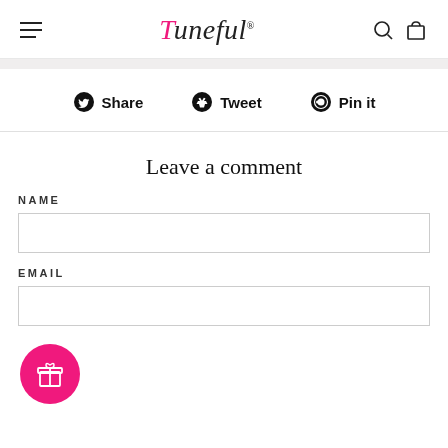Tuneful — navigation header with hamburger menu, logo, search and cart icons
Share   Tweet   Pin it
Leave a comment
NAME
EMAIL